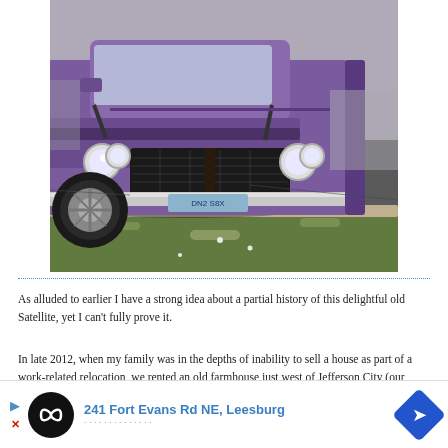[Figure (photo): Front view of a purple/violet 1971 Plymouth Satellite muscle car parked in a lot, viewed from a low angle. The car has chrome bumpers, round headlights, and a dark grille. The parking lot has asphalt and a concrete curb, with a grassy area in the background.]
As alluded to earlier I have a strong idea about a partial history of this delightful old Satellite, yet I can't fully prove it.
In late 2012, when my family was in the depths of inability to sell a house as part of a work-related relocation, we rented an old farmhouse just west of Jefferson City (our new location) as a stop-gap measure.  During the time we were moving in, I saw a dark green 1971 Plymouth Satellite parked nearby at the rural water service's office.  I had two or three other sightings during this period.